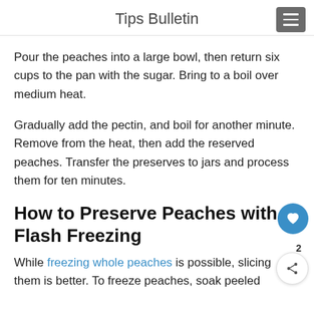Tips Bulletin
Pour the peaches into a large bowl, then return six cups to the pan with the sugar. Bring to a boil over medium heat.
Gradually add the pectin, and boil for another minute. Remove from the heat, then add the reserved peaches. Transfer the preserves to jars and process them for ten minutes.
How to Preserve Peaches with Flash Freezing
While freezing whole peaches is possible, slicing them is better. To freeze peaches, soak peeled